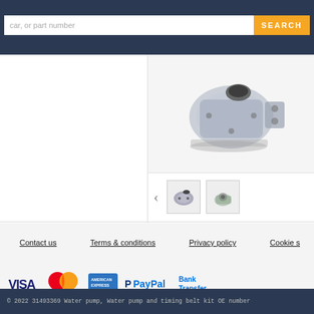car, or part number  SEARCH
[Figure (photo): Water pump automotive part - main product image showing a metal water pump assembly]
[Figure (photo): Thumbnail images of water pump part from different angles, with left arrow navigation]
Contact us    Terms & conditions    Privacy policy    Cookie s
[Figure (logo): Payment method logos: VISA, Mastercard, American Express, PayPal, Bank Transfer]
© 2022 31493369 Water pump, Water pump and timing belt kit OE number